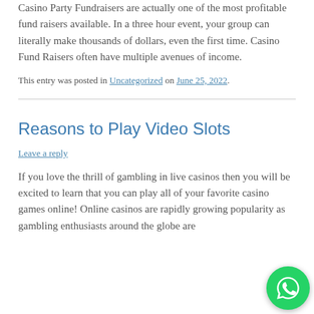Casino Party Fundraisers are actually one of the most profitable fund raisers available. In a three hour event, your group can literally make thousands of dollars, even the first time. Casino Fund Raisers often have multiple avenues of income.
This entry was posted in Uncategorized on June 25, 2022.
Reasons to Play Video Slots
Leave a reply
If you love the thrill of gambling in live casinos then you will be excited to learn that you can play all of your favorite casino games online! Online casinos are rapidly growing popularity as gambling enthusiasts around the globe are